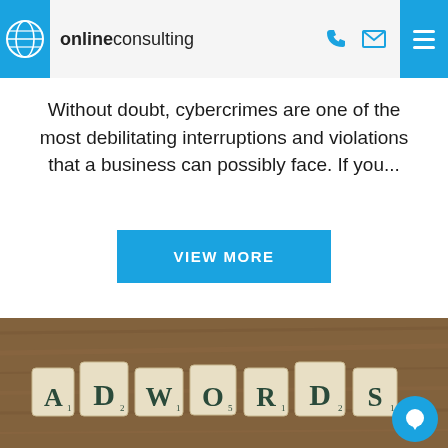onlineconsulting
Without doubt, cybercrimes are one of the most debilitating interruptions and violations that a business can possibly face. If you...
VIEW MORE
[Figure (photo): Scrabble tile letters spelling ADWORDS on a wooden surface]